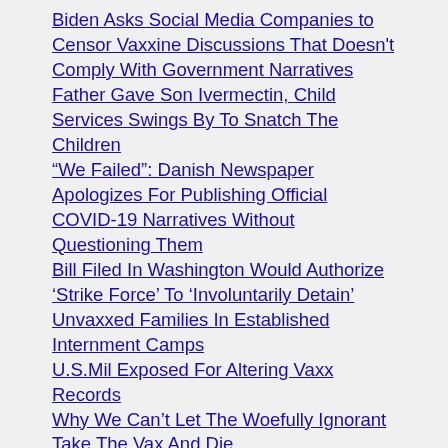Biden Asks Social Media Companies to Censor Vaxxine Discussions That Doesn't Comply With Government Narratives
Father Gave Son Ivermectin, Child Services Swings By To Snatch The Children
“We Failed”: Danish Newspaper Apologizes For Publishing Official COVID-19 Narratives Without Questioning Them
Bill Filed In Washington Would Authorize ‘Strike Force’ To ‘Involuntarily Detain’ Unvaxxed Families In Established Internment Camps
U.S.Mil Exposed For Altering Vaxx Records
Why We Can’t Let The Woefully Ignorant Take The Vax And Die
Project Veritas: Military Documents About Gain Of Function Contradict Fauci Testimony Under Oath
Confidential Vaxxine Agreement Exposed
PFIZER CEO: “Our corona shots don’t have the safety profile we hoped for”
She Had A Dream About Forced Vaccines!
One Minute To Midnight?
Dr. Robert Malone Warns Parents Against Poisoning Their